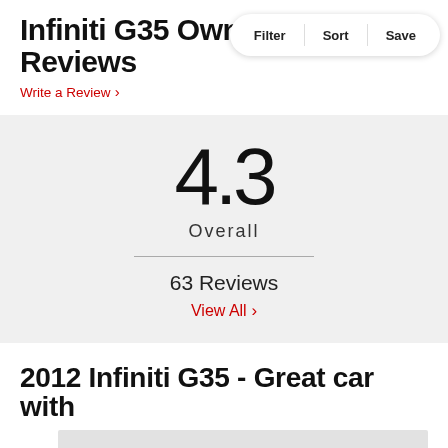Infiniti G35 Owner Ratings & Reviews
Write a Review ›
Filter  Sort  Save
4.3
Overall
63 Reviews
View All ›
2012 Infiniti G35 - Great car with